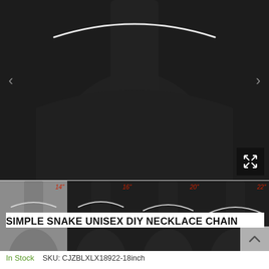[Figure (photo): Main product photo: silver snake chain necklace on black mannequin bust, close-up view showing the chain draped around neck area against dark black background. Navigation arrows on left and right. Expand icon in bottom right corner.]
[Figure (photo): Four thumbnail images of silver snake necklace chain at different lengths: 14 inch (gray background), 16 inch (dark background), 20 inch (dark background), 22 inch (dark background), each showing the chain on a mannequin bust with red italic length labels.]
SIMPLE SNAKE UNISEX DIY NECKLACE CHAIN
In Stock    SKU: CJZBLXLX18922-18inch